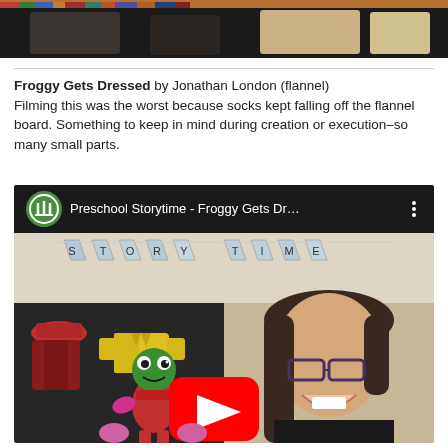[Figure (photo): Top portion of a video or image, partially visible, dark background with colored bar at top]
Froggy Gets Dressed by Jonathan London (flannel)
Filming this was the worst because socks kept falling off the flannel board. Something to keep in mind during creation or execution–so many small parts.
[Figure (screenshot): YouTube video thumbnail showing 'Preschool Storytime - Froggy Gets Dr...' with a green channel icon, a flannel board with frog and clothing pieces, a STORYTIME banner in background, and a woman smiling on the right. A red YouTube play button is centered over the thumbnail.]